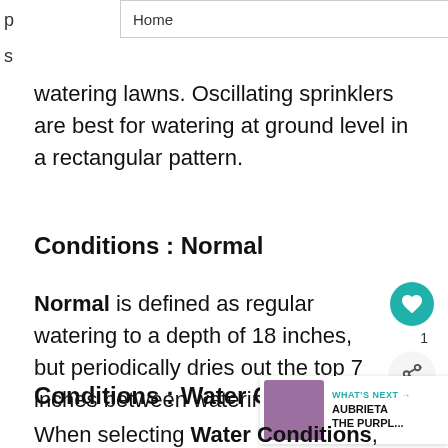[Figure (screenshot): Navigation dropdown bar showing 'Home' with a down arrow chevron]
watering lawns. Oscillating sprinklers are best for watering at ground level in a rectangular pattern.
Conditions : Normal
Normal is defined as regular watering to a depth of 18 inches, but periodically dries out the top 7 inches between waterings.
Conditions : Water Conditions
When selecting Water Conditions, take into